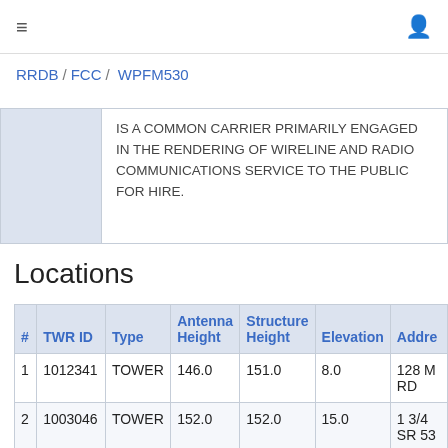≡  (nav bar with hamburger and user icon)
RRDB / FCC / WPFM530
IS A COMMON CARRIER PRIMARILY ENGAGED IN THE RENDERING OF WIRELINE AND RADIO COMMUNICATIONS SERVICE TO THE PUBLIC FOR HIRE.
Locations
| # | TWR ID | Type | Antenna Height | Structure Height | Elevation | Address |
| --- | --- | --- | --- | --- | --- | --- |
| 1 | 1012341 | TOWER | 146.0 | 151.0 | 8.0 | 128 M RD |
| 2 | 1003046 | TOWER | 152.0 | 152.0 | 15.0 | 1 3/4 SR 53 |
| 3 | 1012165 | TOWER | 177.0 | 177.0 | 4.0 | 3405 |